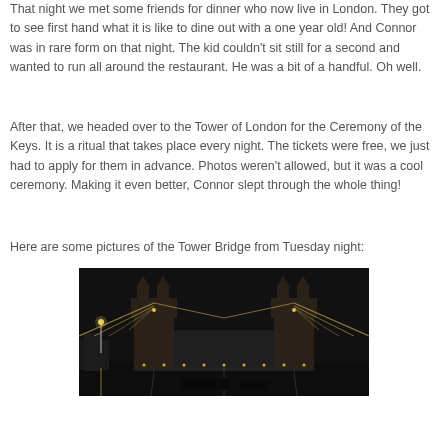That night we met some friends for dinner who now live in London. They got to see first hand what it is like to dine out with a one year old! And Connor was in rare form on that night. The kid couldn't sit still for a second and wanted to run all around the restaurant. He was a bit of a handful. Oh well.
After that, we headed over to the Tower of London for the Ceremony of the Keys. It is a ritual that takes place every night. The tickets were free, we just had to apply for them in advance. Photos weren't allowed, but it was a cool ceremony. Making it even better, Connor slept through the whole thing!
Here are some pictures of the Tower Bridge from Tuesday night:
[Figure (photo): Nighttime photograph of Tower Bridge in London, illuminated with lights reflecting on the Thames River. The iconic Victorian Gothic towers are visible with the suspension bridge cables lit up against a dark sky.]